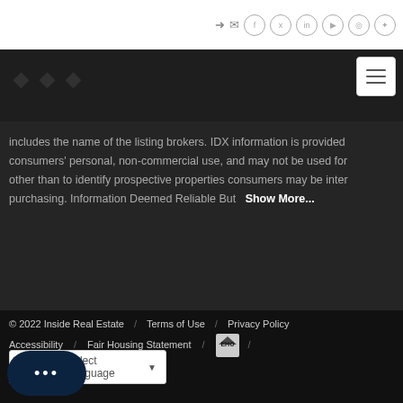[Figure (screenshot): Top navigation bar with social media icons (login, email, Facebook, Twitter, LinkedIn, YouTube, Instagram, Pinterest) on white background and hamburger menu button]
includes the name of the listing brokers. IDX information is provided consumers' personal, non-commercial use, and may not be used for other than to identify prospective properties consumers may be inter purchasing. Information Deemed Reliable But   Show More...
© 2022 Inside Real Estate   /   Terms of Use   /   Privacy Policy  Accessibility   /   Fair Housing Statement   /   [Equal Housing Opportunity logo]   /
[Figure (other): Google Translate language selector widget]
[Figure (other): Chat bubble button with three dots]